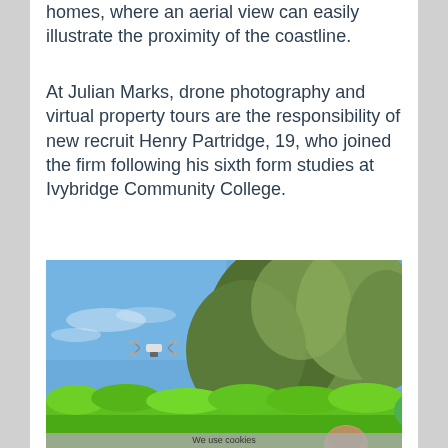homes, where an aerial view can easily illustrate the proximity of the coastline.
At Julian Marks, drone photography and virtual property tours are the responsibility of new recruit Henry Partridge, 19, who joined the firm following his sixth form studies at Ivybridge Community College.
[Figure (photo): Photograph of a drone flying in a blue sky above green trees and hedges, with a person visible at the bottom right looking upward.]